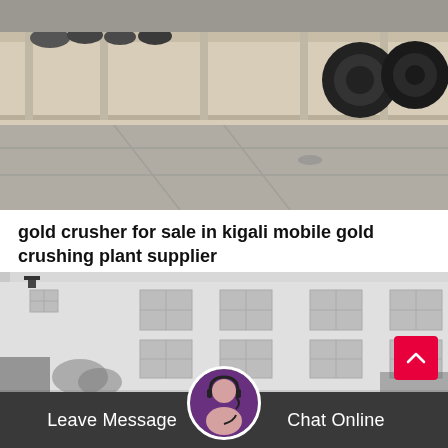[Figure (photo): Industrial site with large machinery, heavy equipment tires visible, beige metal structure, concrete ground with markings]
gold crusher for sale in kigali mobile gold crushing plant supplier
Stone Crusher JXSC company stone & rock crushers include cone crusher, jaw crusher, impact crusher, mobile crusher, sand making machine, mobile crushing…
Release Time:05-23
[Figure (photo): Black and white photo of a multi-story white industrial building with windows and trees in front]
Leave Message
Chat Online